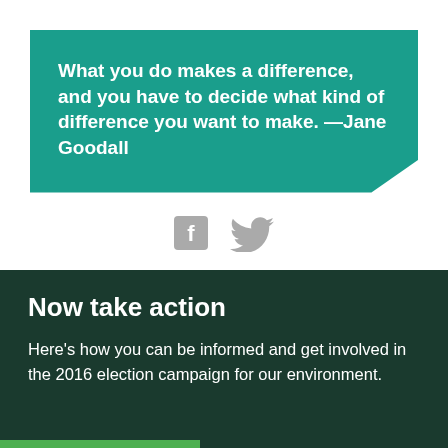What you do makes a difference, and you have to decide what kind of difference you want to make. —Jane Goodall
[Figure (illustration): Social media icons: Facebook and Twitter logos in gray]
Now take action
Here's how you can be informed and get involved in the 2016 election campaign for our environment.